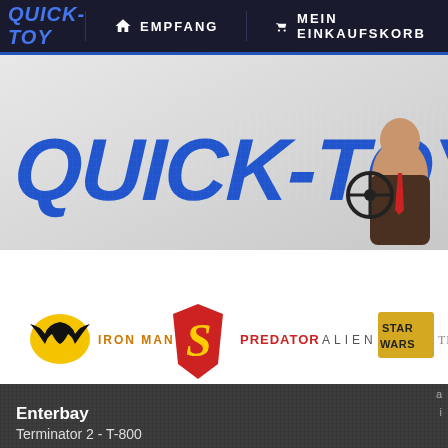QUICK-TOY | EMPFANG | MEIN EINKAUFSKORB
[Figure (screenshot): Quick-Toy website banner with large blue QUICK-TOY logo text and a man (Mr. Bean style) on the right side holding a steering wheel]
Sprache | Kommentare (334)
[Figure (screenshot): Franchise brand logos bar: Batman, Iron Man, Superman, Predator, Alien, Star Wars, Team (partial)]
Enterbay
Terminator 2 - T-800